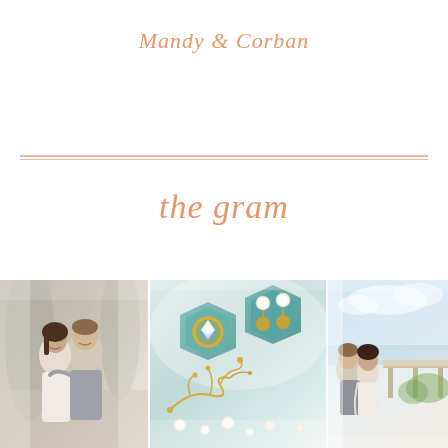Mandy & Corban
the gram
[Figure (photo): Three-panel wedding photo collage: left panel shows smiling bride and groom couple portrait outdoors; center panel shows close-up of jewelry — a diamond engagement ring in a teal hexagonal velvet box and pearl and gold filigree drop earrings in another teal hexagonal box, with gold coral and pearl accessories below; right panel shows a partial view of a couple near a waterfront with outdoor reception table setting visible.]